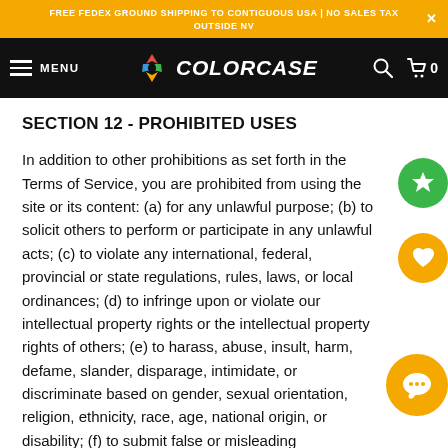FREE FEDEX GROUND SHIPPING TO CONTIGUOUS USA | NO SALES TAX OUTSIDE NV
[Figure (logo): ColorCase logo and navigation bar with hamburger menu, MENU text, colorful star logo, COLORCASE brand name, search icon, and cart icon on black background]
SECTION 12 - PROHIBITED USES
In addition to other prohibitions as set forth in the Terms of Service, you are prohibited from using the site or its content: (a) for any unlawful purpose; (b) to solicit others to perform or participate in any unlawful acts; (c) to violate any international, federal, provincial or state regulations, rules, laws, or local ordinances; (d) to infringe upon or violate our intellectual property rights or the intellectual property rights of others; (e) to harass, abuse, insult, harm, defame, slander, disparage, intimidate, or discriminate based on gender, sexual orientation, religion, ethnicity, race, age, national origin, or disability; (f) to submit false or misleading information; (g) to upload or transmit viruses or any other type of malicious code that will or may be used in any way that will affect the functionality or